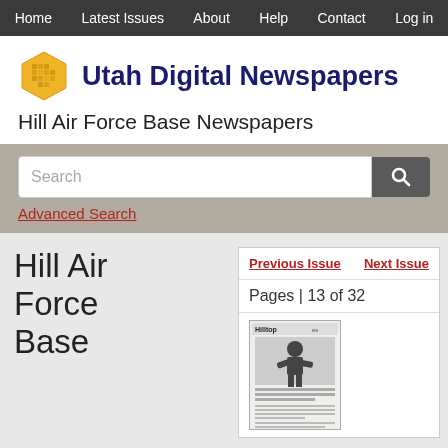Home  Latest Issues  About  Help  Contact  Log in
[Figure (logo): Utah Digital Newspapers hexagon logo with honeycomb pattern in gold/yellow]
Utah Digital Newspapers
Hill Air Force Base Newspapers
Search
Advanced Search
Hill Air Force Base
Previous Issue
Next Issue
Pages | 13 of 32
[Figure (photo): Thumbnail image of a Hilltop newspaper page with a photo of a person and text]